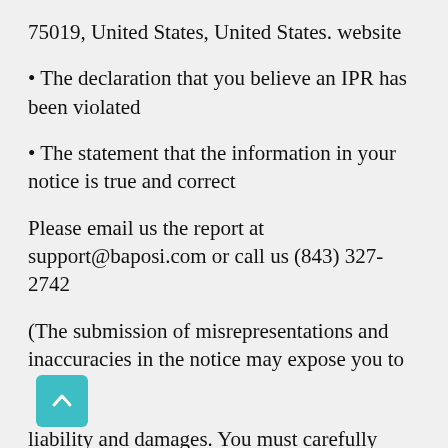75019, United States, United States. website
• The declaration that you believe an IPR has been violated
• The statement that the information in your notice is true and correct
Please email us the report at support@baposi.com or call us (843) 327-2742
(The submission of misrepresentations and inaccuracies in the notice may expose you to liability and damages. You must carefully consider